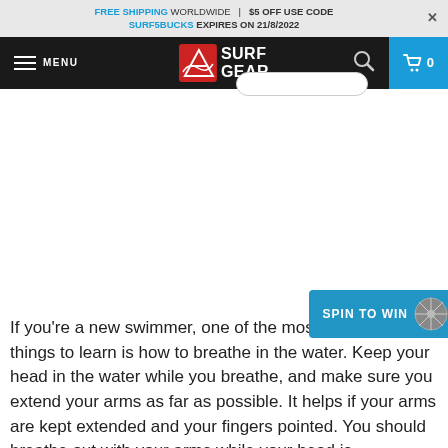FREE SHIPPING WORLDWIDE | $5 OFF USE CODE SURF5BUCKS EXPIRES ON 21/8/2022
[Figure (screenshot): Navigation bar with hamburger menu, Surf Gear logo, search icon, and cart icon showing 0 items]
If you're a new swimmer, one of the most important things to learn is how to breathe in the water. Keep your head in the water while you breathe, and make sure you extend your arms as far as possible. It helps if your arms are kept extended and your fingers pointed. You should breathe out with your arms while your head is underwater. Then, you can turn your head and breathe in sideways.